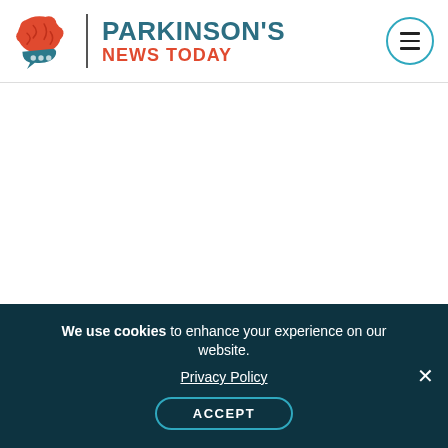[Figure (logo): Parkinson's News Today logo with red brain icon, teal text PARKINSON'S, and red text NEWS TODAY]
Muhammad Ali
Ali was initially diagnosed in 1984, just three short years after he retired from boxing. He developed a
We use cookies to enhance your experience on our website. Privacy Policy ACCEPT